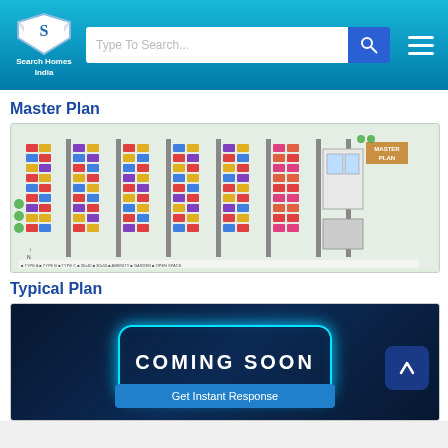[Figure (screenshot): Search Homes India website header with logo, search bar, and hamburger menu on teal/blue gradient background]
Master Plan
[Figure (other): Master Plan aerial layout map showing residential plots arranged in colorful rows with landscaping, roads, and a legend at the bottom]
Typical Plan
[Figure (other): Typical Plan placeholder showing 'COMING SOON' text in glowing cyan border on dark blue background, with Get Instant Response button and an up arrow button]